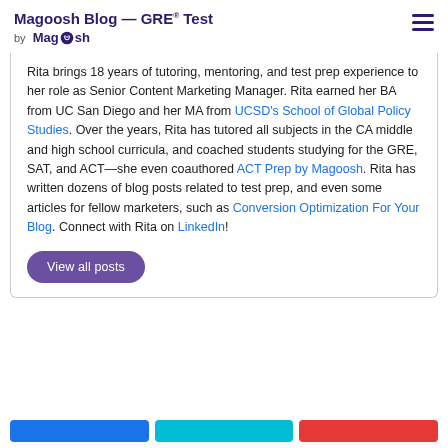Magoosh Blog — GRE® Test by Magoosh
Rita brings 18 years of tutoring, mentoring, and test prep experience to her role as Senior Content Marketing Manager. Rita earned her BA from UC San Diego and her MA from UCSD's School of Global Policy Studies. Over the years, Rita has tutored all subjects in the CA middle and high school curricula, and coached students studying for the GRE, SAT, and ACT—she even coauthored ACT Prep by Magoosh. Rita has written dozens of blog posts related to test prep, and even some articles for fellow marketers, such as Conversion Optimization For Your Blog. Connect with Rita on LinkedIn!
View all posts